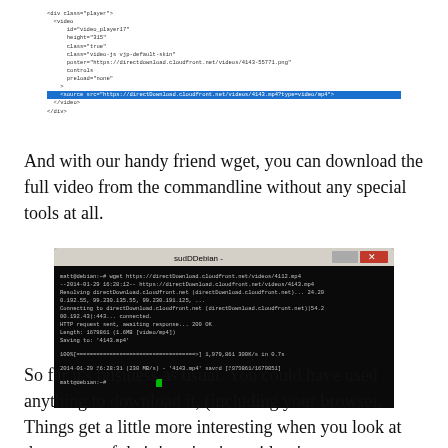[Figure (screenshot): Code snippet showing HTML video element with highlighted source line containing a CloudFront URL]
And with our handy friend wget, you can download the full video from the commandline without any special tools at all.
[Figure (screenshot): Terminal window showing wget command downloading a video file from directdownload.cloudfront.net, with progress output showing 100% completion and saved file '4143.mp4']
So far it's business as usual. You could have used anything to download it, (including your browser. Things get a little more interesting when you look at the source of their 'new' or 'top videos' page: